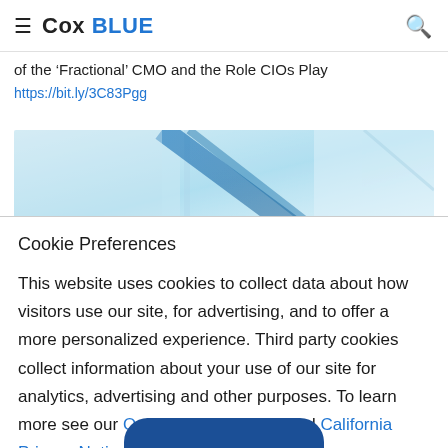Cox BLUE
of the ‘Fractional’ CMO and the Role CIOs Play
https://bit.ly/3C83Pgg
[Figure (photo): Partial view of a light blue building interior image used as article thumbnail]
Cookie Preferences
This website uses cookies to collect data about how visitors use our site, for advertising, and to offer a more personalized experience. Third party cookies collect information about your use of our site for analytics, advertising and other purposes. To learn more see our Online Privacy Policy and California Privacy Notice.